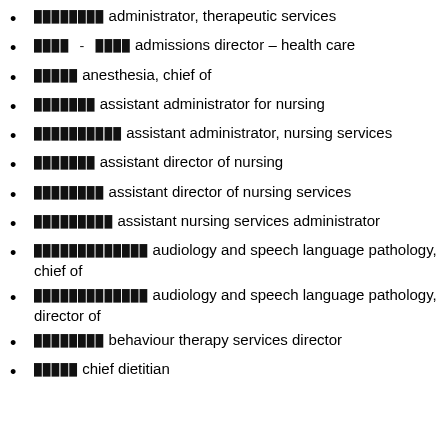████████ administrator, therapeutic services
████ - ████ admissions director – health care
█████ anesthesia, chief of
███████ assistant administrator for nursing
██████████ assistant administrator, nursing services
███████ assistant director of nursing
████████ assistant director of nursing services
█████████ assistant nursing services administrator
█████████████ audiology and speech language pathology, chief of
█████████████ audiology and speech language pathology, director of
████████ behaviour therapy services director
█████ chief dietitian